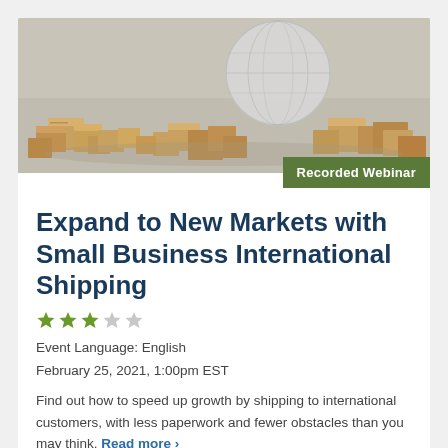[Figure (photo): Hero image of cardboard boxes surrounding a globe, representing international shipping]
Expand to New Markets with Small Business International Shipping
★★★☆☆ (3 out of 5 stars)
Event Language: English
February 25, 2021, 1:00pm EST
Find out how to speed up growth by shipping to international customers, with less paperwork and fewer obstacles than you may think. Read more ›
View Webinar ▶